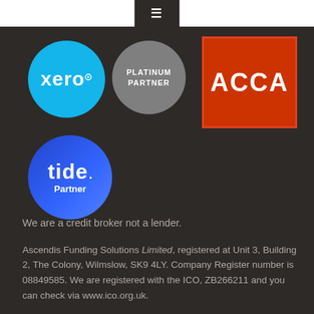[Figure (logo): Xero Platinum Partner logo (cyan circle with xero wordmark) and ACCA logo (red rectangle with white ACCA text) and Tide Partner logo (blue circle with tide wordmark)]
We are a credit broker not a lender.
Ascendis Funding Solutions Limited, registered at Unit 3, Building 2, The Colony, Wilmslow, SK9 4LY. Company Register number is 08849585. We are registered with the ICO, ZB266211 and you can check via www.ico.org.uk.